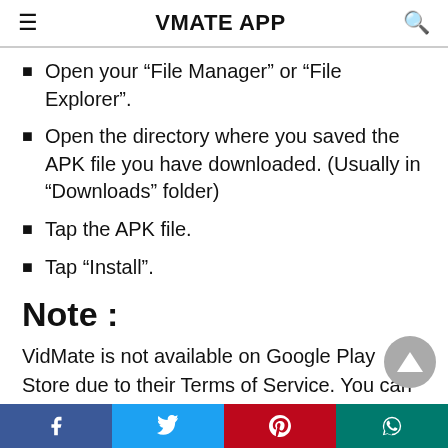VMATE APP
Open your “File Manager” or “File Explorer”.
Open the directory where you saved the APK file you have downloaded. (Usually in “Downloads” folder)
Tap the APK file.
Tap “Install”.
Note :
VidMate is not available on Google Play Store due to their Terms of Service. You can only download the VidMate app from our website. But there is a
Facebook | Twitter | Pinterest | WhatsApp